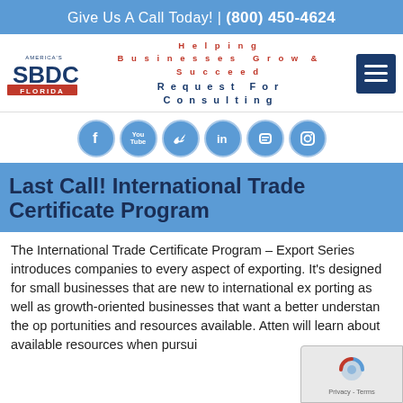Give Us A Call Today! | (800) 450-4624
[Figure (logo): America's SBDC Florida logo]
Helping Businesses Grow & Succeed
Request For Consulting
[Figure (infographic): Social media icons: Facebook, YouTube, Twitter, LinkedIn, Blogger, Instagram]
Last Call! International Trade Certificate Program
The International Trade Certificate Program – Export Series introduces companies to every aspect of exporting. It's designed for small businesses that are new to international ex porting as well as growth-oriented businesses that want a better understan the op portunities and resources available. Atten will learn about available resources when pursui